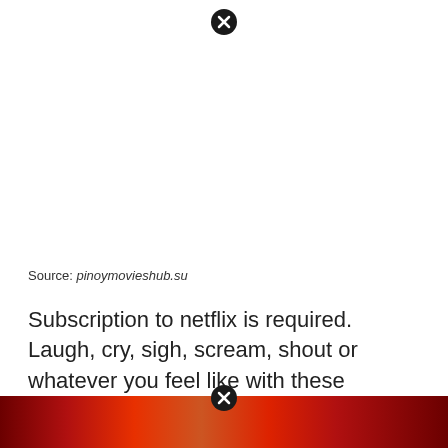[Figure (other): Close/dismiss button (circle with X) at top center]
Source: pinoymovieshub.su
Subscription to netflix is required. Laugh, cry, sigh, scream, shout or whatever you feel like with these comedies, dramas, romances, thrillers and so much more, all hailing from the philippines.
[Figure (other): Close/dismiss button (circle with X) at bottom center, above a reddish image strip of Filipino movie thumbnails]